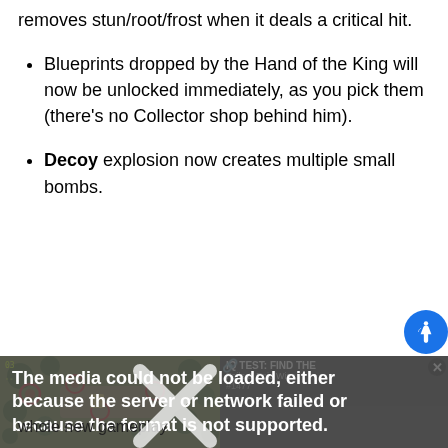removes stun/root/frost when it deals a critical hit.
Blueprints dropped by the Hand of the King will now be unlocked immediately, as you pick them (there's no Collector shop behind him).
Decoy explosion now creates multiple small bombs.
[Figure (screenshot): Video player showing a game screenshot with an error message: 'The media could not be loaded, either because the server or network failed or because the format is not supported.' An ad overlay reads 'IQ TEST: FIND THE' with 'Fails & Epic Wins!' and '#1477'. A close button and X mark are visible.]
whole new gameplay
The Decoy Bomb is...